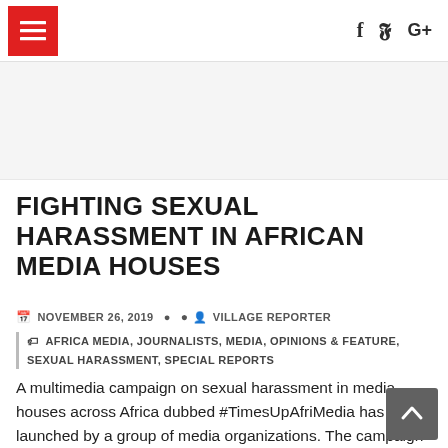Navigation header with hamburger menu and social icons (Facebook, Twitter, Google+)
FIGHTING SEXUAL HARASSMENT IN AFRICAN MEDIA HOUSES
NOVEMBER 26, 2019   VILLAGE REPORTER
AFRICA MEDIA, JOURNALISTS, MEDIA, OPINIONS & FEATURE, SEXUAL HARASSMENT, SPECIAL REPORTS
A multimedia campaign on sexual harassment in media houses across Africa dubbed #TimesUpAfriMedia has been launched by a group of media organizations. The campaign is meant to start series of activities to